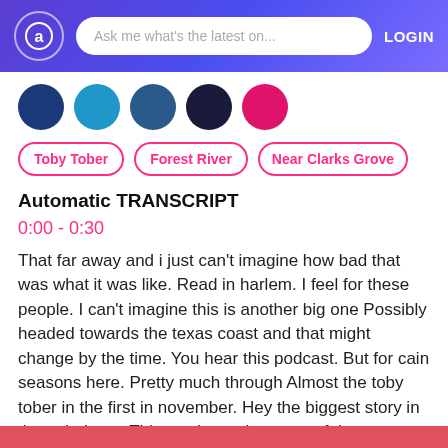Ask me what's the latest on... LOGIN
[Figure (other): Five colored circles representing user avatars or categories]
Toby Tober
Forest River
Near Clarks Grove
Automatic TRANSCRIPT
0:00 - 0:30
That far away and i just can't imagine how bad that was what it was like. Read in harlem. I feel for these people. I can't imagine this is another big one Possibly headed towards the texas coast and that might change by the time. You hear this podcast. But for cain seasons here. Pretty much through Almost the toby tober in the first in november. Hey the biggest story in the rv industry This week was because of the new
Show More